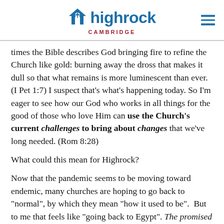Highrock Cambridge
times the Bible describes God bringing fire to refine the Church like gold: burning away the dross that makes it dull so that what remains is more luminescent than ever. (I Pet 1:7) I suspect that’s what’s happening today. So I’m eager to see how our God who works in all things for the good of those who love Him can use the Church’s current challenges to bring about changes that we’ve long needed. (Rom 8:28)
What could this mean for Highrock?
Now that the pandemic seems to be moving toward endemic, many churches are hoping to go back to “normal”, by which they mean “how it used to be”.  But to me that feels like “going back to Egypt”. The promised land is in the